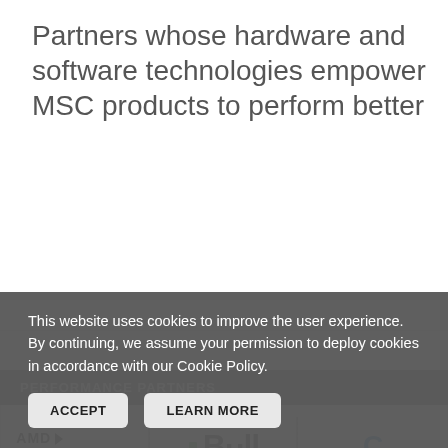Partners whose hardware and software technologies empower MSC products to perform better
PERFORMANCE PARTNERS
[Figure (logo): AMD Radeon Pro logo]
[Figure (logo): Bull logo]
[Figure (logo): Partially visible third partner logo]
This website uses cookies to improve the user experience. By continuing, we assume your permission to deploy cookies in accordance with our Cookie Policy.
ACCEPT  LEARN MORE